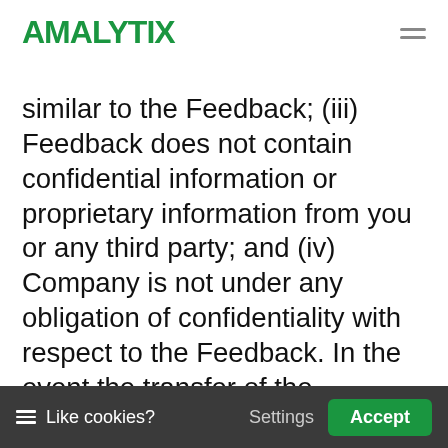AMALYTIX
similar to the Feedback; (iii) Feedback does not contain confidential information or proprietary information from you or any third party; and (iv) Company is not under any obligation of confidentiality with respect to the Feedback. In the event the transfer of the ownership to the Feedback is not possible due to applicable mandatory laws, you grant Company and its affiliates an exclusive, transferable,
Like cookies? Settings Accept